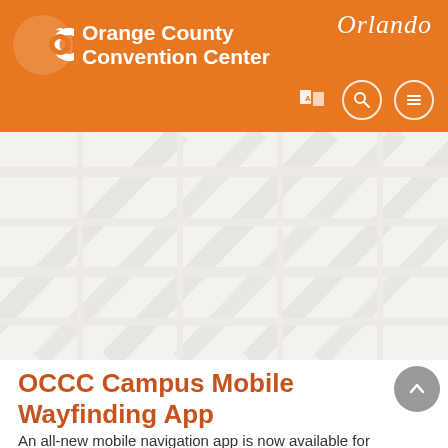[Figure (logo): Orange County Convention Center header with orange logo, white text 'Orange County Convention Center', 'Orlando' in script, and navigation icons (map, search, menu)]
[Figure (photo): Interior architectural photo of convention center ceiling/skylight structure, washed out in light gray tones]
OCCC Campus Mobile Wayfinding App
An all-new mobile navigation app is now available for